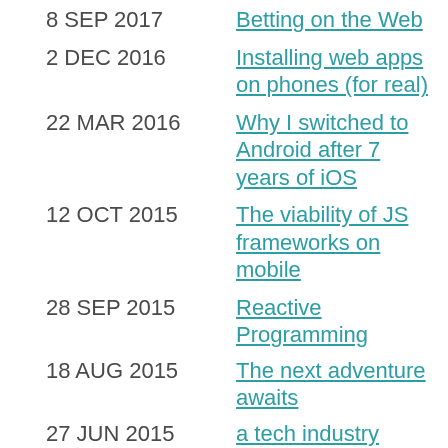8 SEP 2017 | Betting on the Web
2 DEC 2016 | Installing web apps on phones (for real)
22 MAR 2016 | Why I switched to Android after 7 years of iOS
12 OCT 2015 | The viability of JS frameworks on mobile
28 SEP 2015 | Reactive Programming
18 AUG 2015 | The next adventure awaits
27 JUN 2015 | a tech industry conversation
20 JUN 2015 | CEO of Coca-Cola on Balance
5 JUN 2015 | Back from the Future Insights Live in Las Vegas
30 APR 2015 | My interview with Mac Slocum at FluentConf 2015
11 DEC 2014 | A Single Page Story
15 NOV 2013 | Making WebRTC Awesome
12 AUG 2013 | Good morning. (at